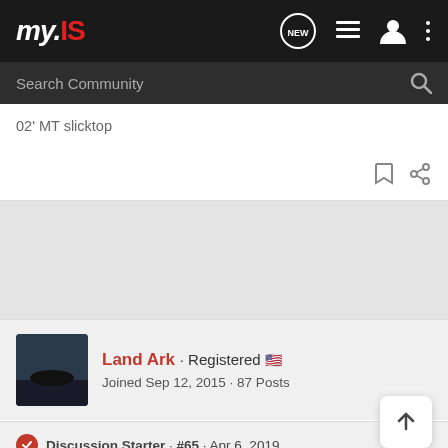my.IS
Search Community
02' MT slicktop
Land Ark · Registered 🇺🇸
Joined Sep 12, 2015 · 87 Posts
Discussion Starter · #65 · Apr 6, 2019
I said I was going to get another IS300, but this isn't at all what I